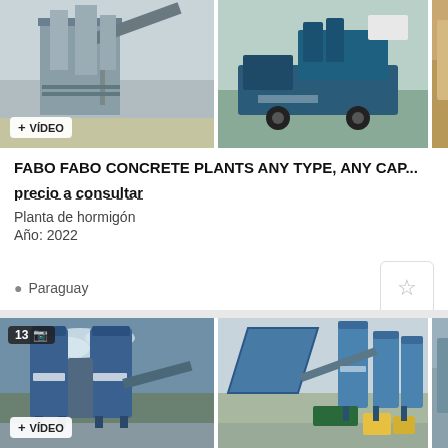[Figure (photo): Industrial concrete plant/batching facility with conveyor belt structure, grey and silver tones. Has a video badge overlay.]
[Figure (photo): Mobile concrete batching plant on a truck, blue/teal colored equipment on gravel ground.]
[Figure (photo): Partial view of another concrete plant, yellow/brown tones.]
FABO FABO CONCRETE PLANTS ANY TYPE, ANY CAP...
precio a consultar
Planta de hormigón
Año: 2022
Paraguay
[Figure (photo): Large blue concrete batching plant with two tall cylindrical silos labeled FABO, blue and grey structure, reflective wet pavement, cloudy sky. Shows photo count badge 13 and video badge.]
[Figure (photo): Blue and white concrete batching plant with multiple silos and conveyors, FABO brand, daylight outdoor setting with yellow equipment in foreground.]